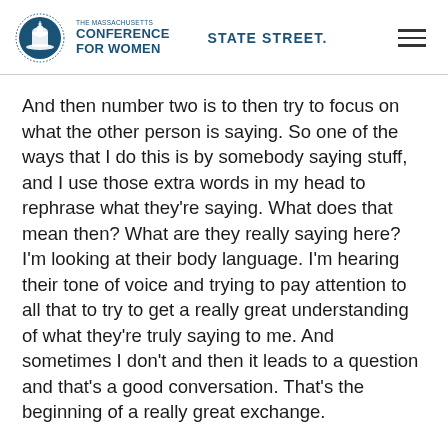The Massachusetts Conference for Women — State Street
And then number two is to then try to focus on what the other person is saying. So one of the ways that I do this is by somebody saying stuff, and I use those extra words in my head to rephrase what they're saying. What does that mean then? What are they really saying here? I'm looking at their body language. I'm hearing their tone of voice and trying to pay attention to all that to try to get a really great understanding of what they're truly saying to me. And sometimes I don't and then it leads to a question and that's a good conversation. That's the beginning of a really great exchange.